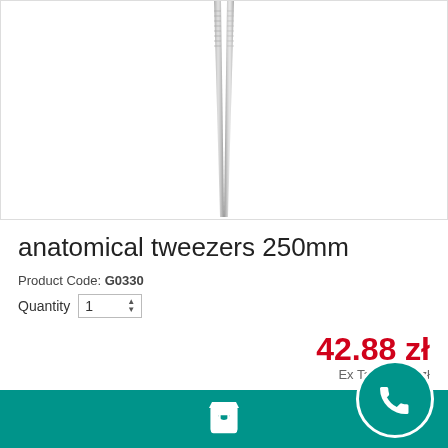[Figure (photo): Photograph of anatomical tweezers 250mm, stainless steel, shown vertically centered against white background]
anatomical tweezers 250mm
Product Code: G0330
Quantity 1
42.88 zł
Ex Tax: 39.70 zł